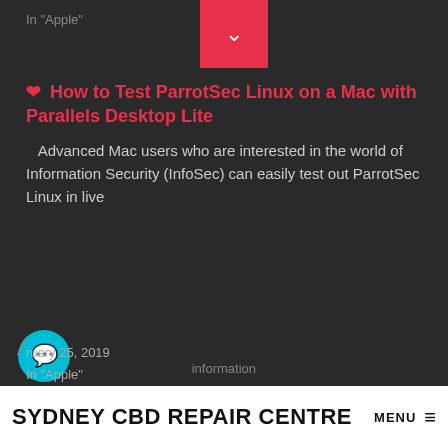In "Apple"
❤ How to Test ParrotSec Linux on a Mac with Parallels Desktop Lite
Advanced Mac users who are interested in the world of Information Security (InfoSec) can easily test out ParrotSec Linux in live
ruary 25, 2019
In "Apple"
SYDNEY CBD REPAIR CENTRE MENU ≡